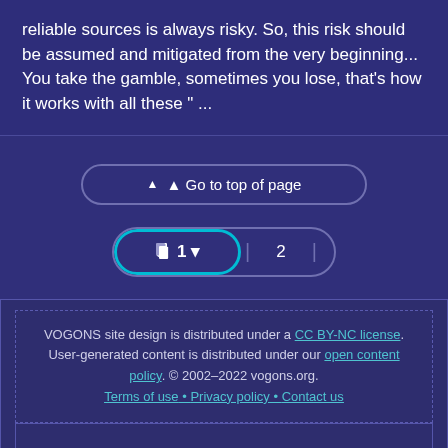reliable sources is always risky. So, this risk should be assumed and mitigated from the very beginning... You take the gamble, sometimes you lose, that's how it works with all these " ...
[Figure (screenshot): Go to top of page button and pagination control showing page 1 selected (with dropdown arrow), page 2, and page 40]
VOGONS site design is distributed under a CC BY-NC license. User-generated content is distributed under our open content policy. © 2002–2022 vogons.org. Terms of use • Privacy policy • Contact us